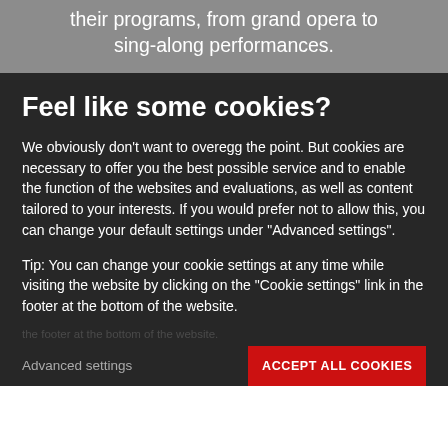their programs, from grand opera to sing-along performances.
Feel like some cookies?
We obviously don't want to overegg the point. But cookies are necessary to offer you the best possible service and to enable the function of the websites and evaluations, as well as content tailored to your interests. If you would prefer not to allow this, you can change your default settings under "Advanced settings".
Tip: You can change your cookie settings at any time while visiting the website by clicking on the "Cookie settings" link in the footer at the bottom of the website.
Advanced settings
ACCEPT ALL COOKIES